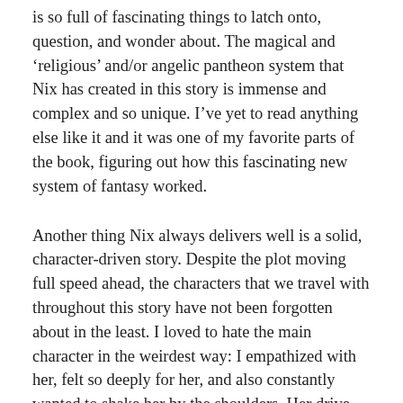is so full of fascinating things to latch onto, question, and wonder about. The magical and ‘religious’ and/or angelic pantheon system that Nix has created in this story is immense and complex and so unique. I’ve yet to read anything else like it and it was one of my favorite parts of the book, figuring out how this fascinating new system of fantasy worked.
Another thing Nix always delivers well is a solid, character-driven story. Despite the plot moving full speed ahead, the characters that we travel with throughout this story have not been forgotten about in the least. I loved to hate the main character in the weirdest way: I empathized with her, felt so deeply for her, and also constantly wanted to shake her by the shoulders. Her drive and stubbornness are such a deep part of her character and mission that she felt alive.